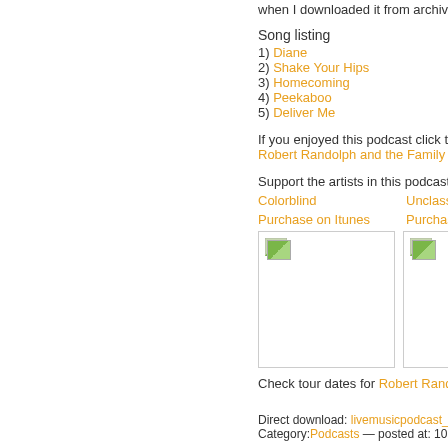when I downloaded it from archive.org.
Song listing
1) Diane
2) Shake Your Hips
3) Homecoming
4) Peekaboo
5) Deliver Me
If you enjoyed this podcast click the following link:
Robert Randolph and the Family Band -
Support the artists in this podcast by buying their albums:
Colorblind
Unclassified
Purchase on Itunes
Purchase on It...
[Figure (photo): Album cover placeholder image 1]
[Figure (photo): Album cover placeholder image 2]
Check tour dates for Robert Randolph
Direct download: livemusicpodcast_002.mp3
Category:Podcasts — posted at: 10:16pm EDT
Tue, 22 May 2007
Podcast #1: Dave NV... 10/27/06